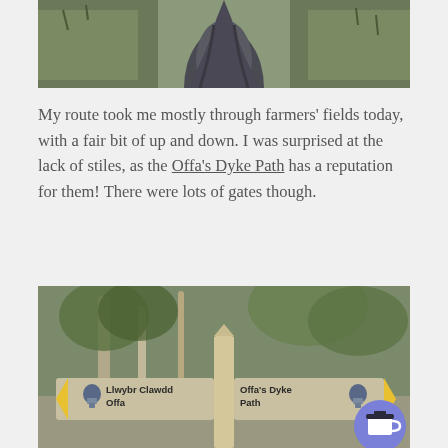[Figure (photo): A muddy narrow path through farmers' fields, with grass on either side]
My route took me mostly through farmers' fields today, with a fair bit of up and down. I was surprised at the lack of stiles, as the Offa's Dyke Path has a reputation for them! There were lots of gates though.
[Figure (photo): A wooden signpost in a wooded area with two fingerpost signs: left pointing 'Llwybr Clawdd Offa' and right pointing 'Offa's Dyke Path', both with acorn symbols and yellow chevrons. A blue coffee cup button overlays bottom right.]